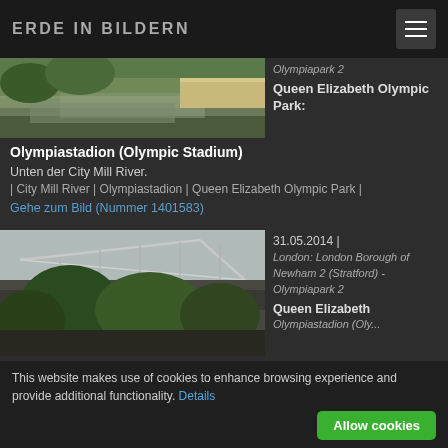ERDE IN BILDERN
[Figure (photo): Aerial or ground-level photo of a waterway with green vegetation and a wooden promenade — City Mill River near Olympic Stadium]
Olympiapark 2
Queen Elizabeth Olympic Park:
Olympiastadion (Olympic Stadium)
Unten der City Mill River.
| City Mill River | Olympiastadion | Queen Elizabeth Olympic Park |
Gehe zum Bild (Nummer 1401583)
[Figure (photo): Photo of the Olympic Stadium in London with structural roof trusses visible through green trees — London Borough of Newham, Stratford]
31.05.2014 |
London: London Borough of Newham 2 (Stratford) - Olympiapark 2
Queen Elizabeth
Olympiastadion (Olympic...
This website makes use of cookies to enhance browsing experience and provide additional functionality. Details
Allow cookies